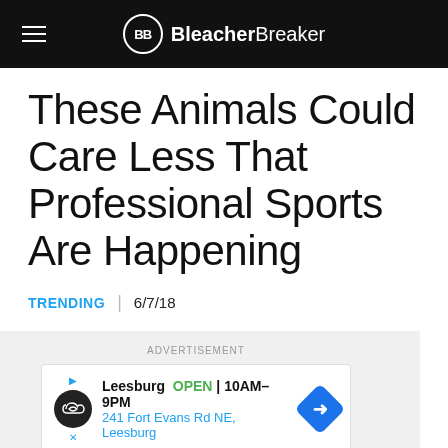BleacherBreaker
These Animals Could Care Less That Professional Sports Are Happening
TRENDING | 6/7/18
[Figure (screenshot): Advertisement banner for Leesburg location: OPEN 10AM–9PM, 241 Fort Evans Rd NE, Leesburg]
Humans love professional sports. Animals love